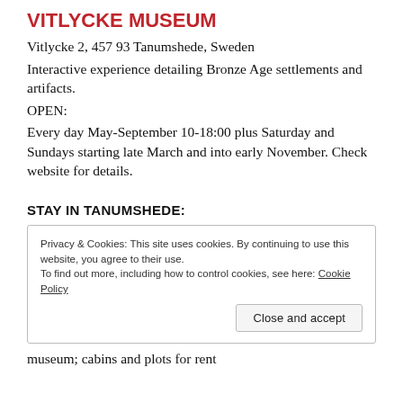VITLYCKE MUSEUM
Vitlycke 2, 457 93 Tanumshede, Sweden
Interactive experience detailing Bronze Age settlements and artifacts.
OPEN:
Every day May-September 10-18:00 plus Saturday and Sundays starting late March and into early November. Check website for details.
STAY IN TANUMSHEDE:
Privacy & Cookies: This site uses cookies. By continuing to use this website, you agree to their use.
To find out more, including how to control cookies, see here: Cookie Policy
[Close and accept button]
museum; cabins and plots for rent